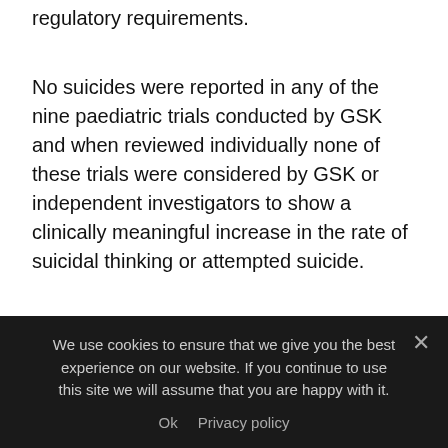regulatory requirements.
No suicides were reported in any of the nine paediatric trials conducted by GSK and when reviewed individually none of these trials were considered by GSK or independent investigators to show a clinically meaningful increase in the rate of suicidal thinking or attempted suicide.
Only when all the data became available, at the end of the research programme, and were analysed together was an increased rate of suicidal thinking or attempted suicide revealed in
We use cookies to ensure that we give you the best experience on our website. If you continue to use this site we will assume that you are happy with it. Ok  Privacy policy